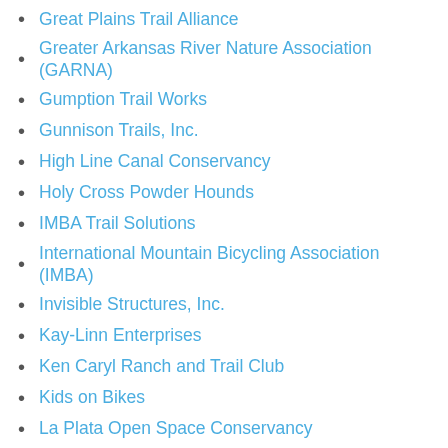Great Plains Trail Alliance
Greater Arkansas River Nature Association (GARNA)
Gumption Trail Works
Gunnison Trails, Inc.
High Line Canal Conservancy
Holy Cross Powder Hounds
IMBA Trail Solutions
International Mountain Bicycling Association (IMBA)
Invisible Structures, Inc.
Kay-Linn Enterprises
Ken Caryl Ranch and Trail Club
Kids on Bikes
La Plata Open Space Conservancy
Larimer County Horseman's Association
Leave No Trace Center for Outdoor Ethics
Markit! Forestry Management
McGill Trail Fabrication
Medicine Wheel Trail Advocates
Mile High Youth Corps
Montezuma Land Conservancy
Mountain Area Land Trust